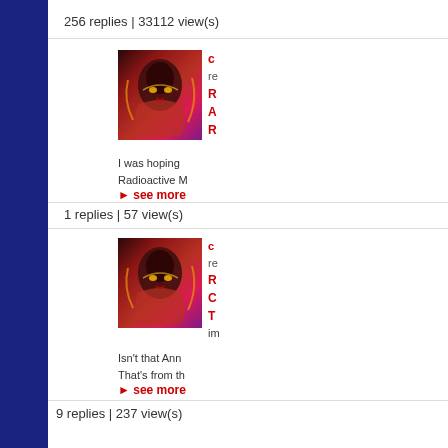256 replies | 33112 view(s)
[Figure (photo): Avatar image showing a figure with dark hood and glowing energy effects in red/pink tones]
c
re
R
A
R
I was hoping
Radioactive M
see more
1 replies | 57 view(s)
1 replies | 57 view(s)
[Figure (photo): Avatar image showing a figure with dark hood and glowing energy effects in red/pink tones]
c
re
R
C
T
im
Isn't that Ann
That's from th
see more
9 replies | 237 view(s)
9 replies | 237 view(s)